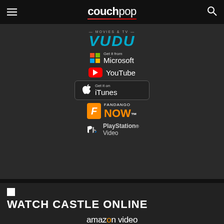couchpop
[Figure (logo): VUDU Movies & TV logo]
[Figure (logo): Get it from Microsoft badge]
[Figure (logo): YouTube logo]
[Figure (logo): Get it on iTunes badge]
[Figure (logo): Fandango NOW logo]
[Figure (logo): PlayStation Video logo]
[Figure (illustration): Small broken image icon]
WATCH CASTLE ONLINE
[Figure (logo): Amazon Video logo]
[Figure (logo): Get it from Google Play badge]